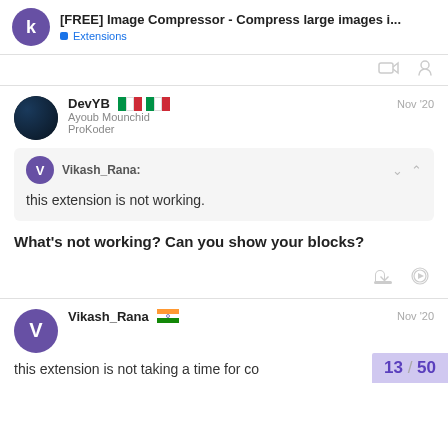[FREE] Image Compressor - Compress large images i... Extensions
DevYB Ayoub Mounchid ProKoder Nov '20
Vikash_Rana: this extension is not working.
What's not working? Can you show your blocks?
Vikash_Rana Nov '20
this extension is not taking a time for co